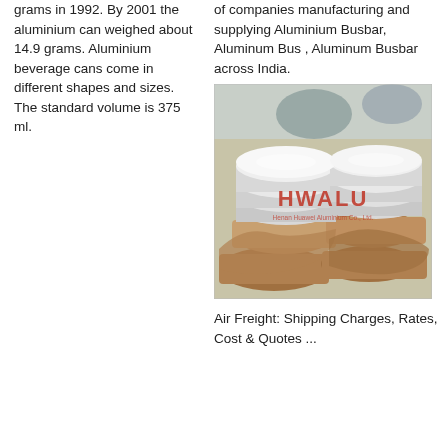grams in 1992. By 2001 the aluminium can weighed about 14.9 grams. Aluminium beverage cans come in different shapes and sizes. The standard volume is 375 ml.
of companies manufacturing and supplying Aluminium Busbar, Aluminum Bus , Aluminum Busbar across India.
[Figure (photo): Photo of stacked aluminium discs/circles wrapped in brown kraft paper, with HWALU brand watermark overlay. Henan Huawei Aluminium Co., Ltd.]
Air Freight: Shipping Charges, Rates, Cost & Quotes ...